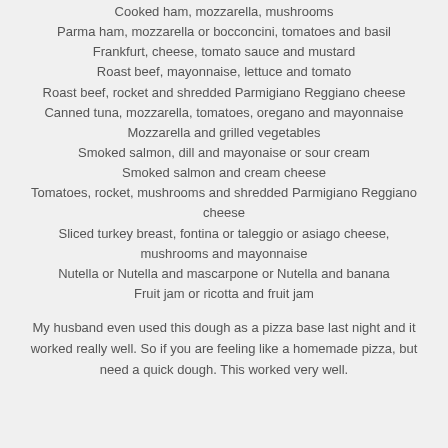Cooked ham, mozzarella, mushrooms
Parma ham, mozzarella or bocconcini, tomatoes and basil
Frankfurt, cheese, tomato sauce and mustard
Roast beef, mayonnaise, lettuce and tomato
Roast beef, rocket and shredded Parmigiano Reggiano cheese
Canned tuna, mozzarella, tomatoes, oregano and mayonnaise
Mozzarella and grilled vegetables
Smoked salmon, dill and mayonaise or sour cream
Smoked salmon and cream cheese
Tomatoes, rocket, mushrooms and shredded Parmigiano Reggiano cheese
Sliced turkey breast, fontina or taleggio or asiago cheese, mushrooms and mayonnaise
Nutella or Nutella and mascarpone or Nutella and banana
Fruit jam or ricotta and fruit jam
My husband even used this dough as a pizza base last night and it worked really well. So if you are feeling like a homemade pizza, but need a quick dough. This worked very well.